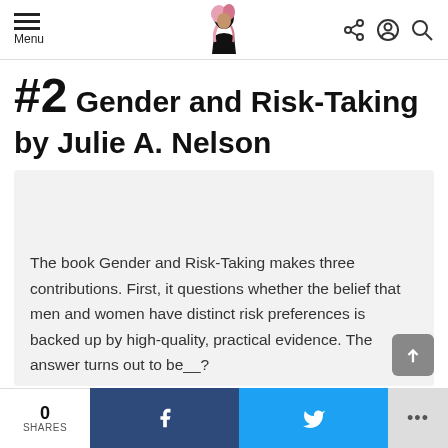Menu | [logo] | [share] [account] [search]
#2 Gender and Risk-Taking by Julie A. Nelson
The book Gender and Risk-Taking makes three contributions. First, it questions whether the belief that men and women have distinct risk preferences is backed up by high-quality, practical evidence. The answer turns out to be__?
0 SHARES | f | 🐦 | ...